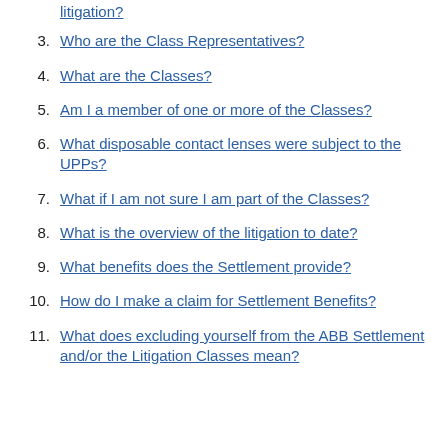litigation?
3. Who are the Class Representatives?
4. What are the Classes?
5. Am I a member of one or more of the Classes?
6. What disposable contact lenses were subject to the UPPs?
7. What if I am not sure I am part of the Classes?
8. What is the overview of the litigation to date?
9. What benefits does the Settlement provide?
10. How do I make a claim for Settlement Benefits?
11. What does excluding yourself from the ABB Settlement and/or the Litigation Classes mean?